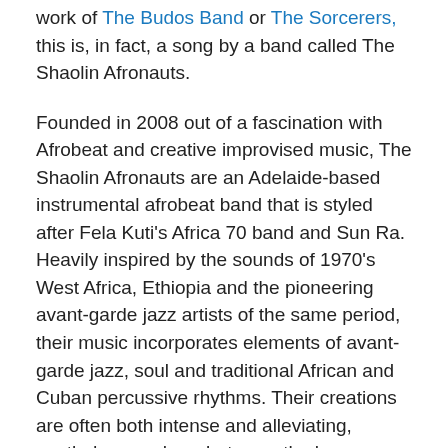work of The Budos Band or The Sorcerers, this is, in fact, a song by a band called The Shaolin Afronauts.
Founded in 2008 out of a fascination with Afrobeat and creative improvised music, The Shaolin Afronauts are an Adelaide-based instrumental afrobeat band that is styled after Fela Kuti's Africa 70 band and Sun Ra.  Heavily inspired by the sounds of 1970's West Africa, Ethiopia and the pioneering avant-garde jazz artists of the same period, their music incorporates elements of avant-garde jazz, soul and traditional African and Cuban percussive rhythms. Their creations are often both intense and alleviating, nestled somewhere between the heavy Afrobeat of Fela Kuti and the Ethio-Jazz of Mulatu Astatke.
It's easy to get lost amidst their many sonic layers as you journey through undulating percussive terrains and